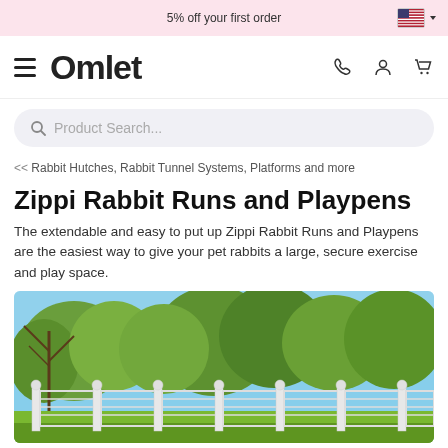5% off your first order
[Figure (screenshot): Omlet website navigation bar with hamburger menu, Omlet logo, phone icon, account icon, and cart icon]
Product Search...
<< Rabbit Hutches, Rabbit Tunnel Systems, Platforms and more
Zippi Rabbit Runs and Playpens
The extendable and easy to put up Zippi Rabbit Runs and Playpens are the easiest way to give your pet rabbits a large, secure exercise and play space.
[Figure (photo): Outdoor photo showing a white rabbit run/playpen fence structure with white ball-top posts in a garden with trees and blue sky in the background]